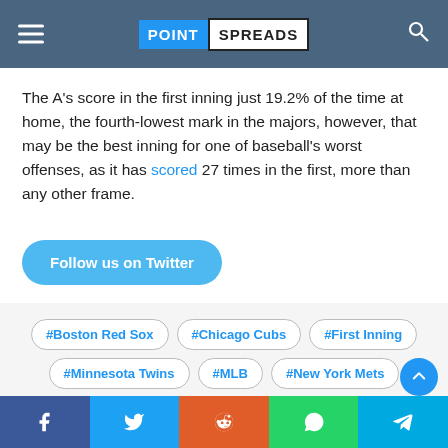POINT SPREADS
The A's score in the first inning just 19.2% of the time at home, the fourth-lowest mark in the majors, however, that may be the best inning for one of baseball's worst offenses, as it has scored 27 times in the first, more than any other frame.
Follow us on Twitter
#Boston Red Sox
#Chicago Cubs
#First Inning
#Minnesota Twins
#MLB
#New York Mets
#New York Yankees
#Washington Nationals
Facebook Twitter Reddit WhatsApp Telegram